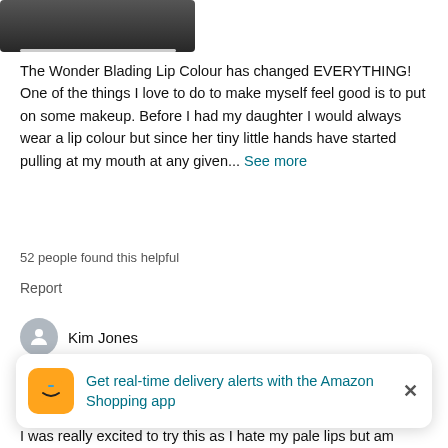[Figure (screenshot): Video thumbnail cropped at top of page showing a dark frame with a progress/scrub bar]
The Wonder Blading Lip Colour has changed EVERYTHING! One of the things I love to do to make myself feel good is to put on some makeup. Before I had my daughter I would always wear a lip colour but since her tiny little hands have started pulling at my mouth at any given... See more
52 people found this helpful
Report
Kim Jones
Verified Purchase
So disappointed
Reviewed in the United Kingdom on October 6, 2021
I was really excited to try this as I hate my pale lips but am
Get real-time delivery alerts with the Amazon Shopping app